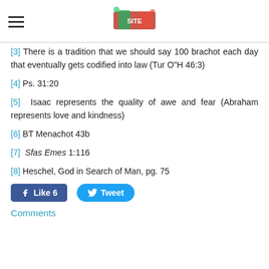[logo/site header with hamburger menu]
[3] There is a tradition that we should say 100 brachot each day that eventually gets codified into law (Tur O"H 46:3)
[4] Ps. 31:20
[5] Isaac represents the quality of awe and fear (Abraham represents love and kindness)
[6] BT Menachot 43b
[7] Sfas Emes 1:116
[8] Heschel, God in Search of Man, pg. 75
Comments